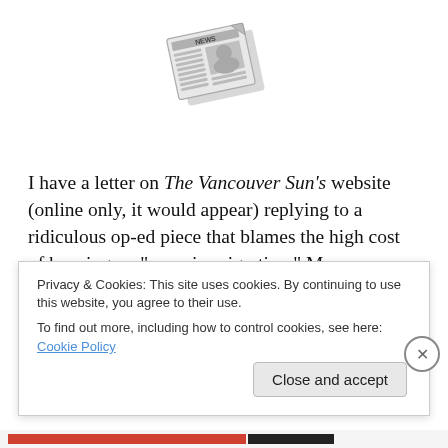[Figure (illustration): Newspaper icon/emoji showing a folded newspaper with 'NEWS' text]
I have a letter on The Vancouver Sun's website (online only, it would appear) replying to a ridiculous op-ed piece that blames the high cost of housing on “mass immigration.” My response is restrained in both tone and word count, but suffice it to say I disagree with the op-ed writer’s argument. To read my letter, click here and scroll down to the second entry, under the heading “Massive
Privacy & Cookies: This site uses cookies. By continuing to use this website, you agree to their use.
To find out more, including how to control cookies, see here: Cookie Policy